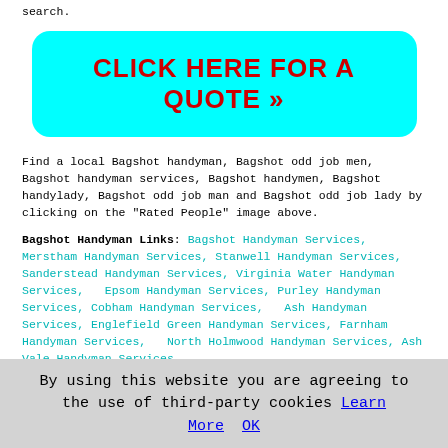search.
[Figure (other): Cyan rounded button with red bold text: CLICK HERE FOR A QUOTE >>]
Find a local Bagshot handyman, Bagshot odd job men, Bagshot handyman services, Bagshot handymen, Bagshot handylady, Bagshot odd job man and Bagshot odd job lady by clicking on the "Rated People" image above.
Bagshot Handyman Links: Bagshot Handyman Services, Merstham Handyman Services, Stanwell Handyman Services, Sanderstead Handyman Services, Virginia Water Handyman Services, Epsom Handyman Services, Purley Handyman Services, Cobham Handyman Services, Ash Handyman Services, Englefield Green Handyman Services, Farnham Handyman Services, North Holmwood Handyman Services, Ash Vale Handyman Services
By using this website you are agreeing to the use of third-party cookies Learn More OK